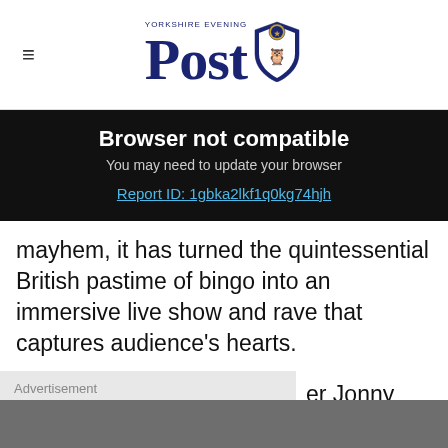Yorkshire Evening Post
Browser not compatible
You may need to update your browser
Report ID: 1gbka2lkf1q0kg74hjh
mayhem, it has turned the quintessential British pastime of bingo into an immersive live show and rave that captures audience's hearts.
Advertisement
er Jonny taking ngo and we o the